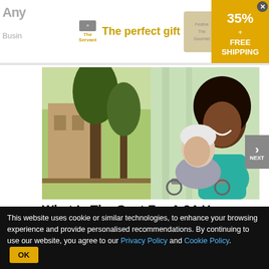[Figure (screenshot): Advertisement banner: 'The perfect gift' with food/gift product imagery, navigation arrows, and a gold box showing '35% + FREE SHIPPING' with a close button.]
[Figure (photo): Split photo: left side shows a building exterior with trees, right side shows a smiling Black female caregiver in teal scrubs standing behind an older white man in a wheelchair.]
What Is The Cost For A 24-Hour Live-In Carer In Ashburn? The Price Might...
Nurse & Caregiver Jobs | Search Ads | Sponsored
This website uses cookie or similar technologies, to enhance your browsing experience and provide personalised recommendations. By continuing to use our website, you agree to our Privacy Policy and Cookie Policy.